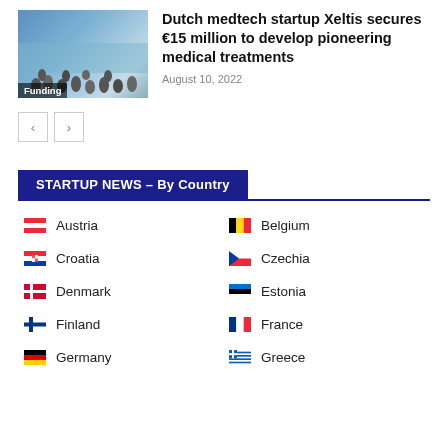[Figure (photo): Group photo of people outdoors near water with a blue sky background, labeled 'Funding' at the bottom left]
Dutch medtech startup Xeltis secures €15 million to develop pioneering medical treatments
August 10, 2022
[Figure (other): Navigation previous and next arrow buttons]
STARTUP NEWS – By Country
Austria
Belgium
Croatia
Czechia
Denmark
Estonia
Finland
France
Germany
Greece